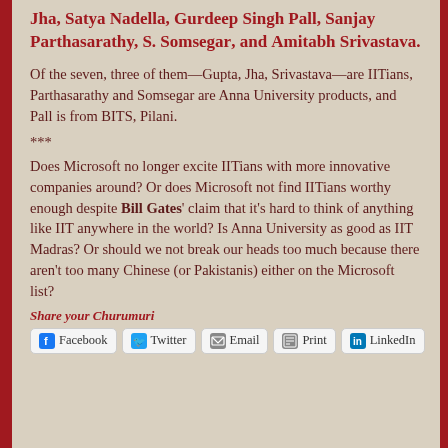Jha, Satya Nadella, Gurdeep Singh Pall, Sanjay Parthasarathy, S. Somsegar, and Amitabh Srivastava.
Of the seven, three of them—Gupta, Jha, Srivastava—are IITians, Parthasarathy and Somsegar are Anna University products, and Pall is from BITS, Pilani.
***
Does Microsoft no longer excite IITians with more innovative companies around? Or does Microsoft not find IITians worthy enough despite Bill Gates' claim that it's hard to think of anything like IIT anywhere in the world? Is Anna University as good as IIT Madras? Or should we not break our heads too much because there aren't too many Chinese (or Pakistanis) either on the Microsoft list?
Share your Churumuri
Facebook  Twitter  Email  Print  LinkedIn